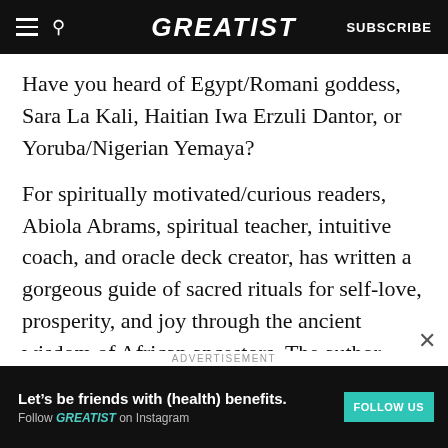GREATIST | SUBSCRIBE
Have you heard of Egypt/Romani goddess, Sara La Kali, Haitian Iwa Erzuli Dantor, or Yoruba/Nigerian Yemaya?
For spiritually motivated/curious readers, Abiola Abrams, spiritual teacher, intuitive coach, and oracle deck creator, has written a gorgeous guide of sacred rituals for self-love, prosperity, and joy through the ancient wisdom of African ancestors. The author calls it an “invitation to a sacred healing adventure” and has 42 rituals inspired by various goddesses, from Nana Buluku to Ost
[Figure (infographic): Advertisement banner: dark background with text 'Let’s be friends with (health) benefits. Follow GREATIST on Instagram' and a teal FOLLOW US button]